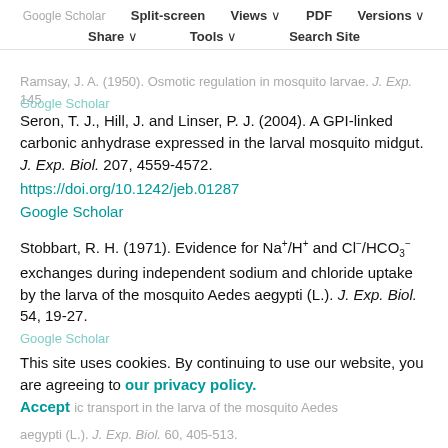Google Scholar | Split-screen | Views | PDF | Versions | Share | Tools | Search Site
Ramsay, J. A. (1950). Osmotic regulation in mosquito larvae. J. Exp. [faded] 145 [faded]
Google Scholar [faded]
Seron, T. J., Hill, J. and Linser, P. J. (2004). A GPI-linked carbonic anhydrase expressed in the larval mosquito midgut. J. Exp. Biol. 207, 4559-4572.
https://doi.org/10.1242/jeb.01287
Google Scholar
Stobbart, R. H. (1971). Evidence for Na+/H+ and Cl-/HCO3- exchanges during independent sodium and chloride uptake by the larva of the mosquito Aedes aegypti (L.). J. Exp. Biol. 54, 19-27.
Google Scholar [faded]
This site uses cookies. By continuing to use our website, you are agreeing to our privacy policy. Accept
anic transport in the larva of the mosquito Aedes aegypti (L.). J. Exp. Biol. 60, 405-513. [faded]